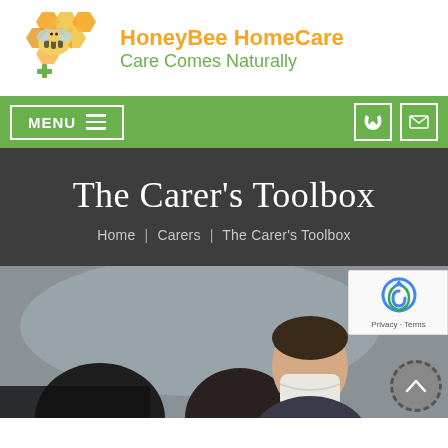[Figure (logo): HoneyBee HomeCare logo with honeycomb hexagons and bee illustration with green medical cross]
HoneyBee HomeCare
Care Comes Naturally
[Figure (screenshot): Website navigation bar with MENU button and phone/email contact icons on green background]
The Carer's Toolbox
Home | Carers | The Carer's Toolbox
[Figure (photo): Photo of a person wearing a face mask inside a car, with reCAPTCHA badge and scroll-to-top button overlay]